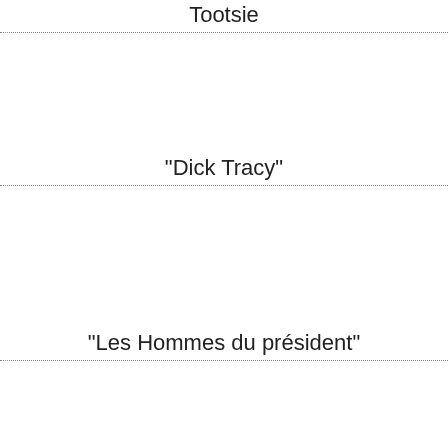Tootsie
"Dick Tracy"
"Les Hommes du président"